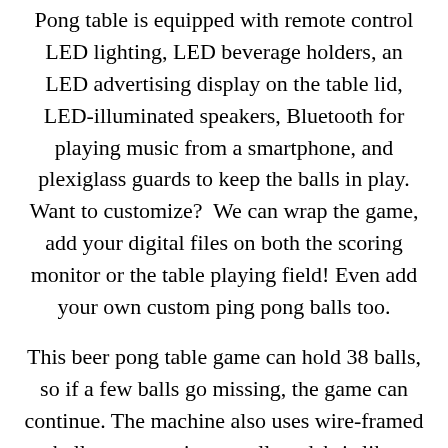Pong table is equipped with remote control LED lighting, LED beverage holders, an LED advertising display on the table lid, LED-illuminated speakers, Bluetooth for playing music from a smartphone, and plexiglass guards to keep the balls in play. Want to customize?  We can wrap the game, add your digital files on both the scoring monitor or the table playing field! Even add your own custom ping pong balls too.
This beer pong table game can hold 38 balls, so if a few balls go missing, the game can continue. The machine also uses wire-framed ball return sections to allow debris like popcorn to fall on the floor so balls don't get jammed.